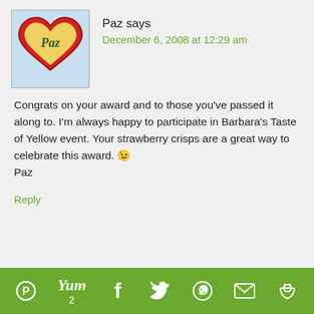[Figure (photo): Heart-shaped cookie with 'Paz' written on it in red and green icing, used as avatar]
Paz says
December 6, 2008 at 12:29 am
Congrats on your award and to those you've passed it along to. I'm always happy to participate in Barbara's Taste of Yellow event. Your strawberry crisps are a great way to celebrate this award. 😉
Paz
Reply
Cooksister cookie consent
We use cookies to ensure you receive the best experience on our site. If you continue to use this site, you are agreeing to our
[Figure (infographic): Social sharing bar with Pinterest, Yum (2), Facebook, Twitter, WhatsApp, Email, and More icons on a green background]